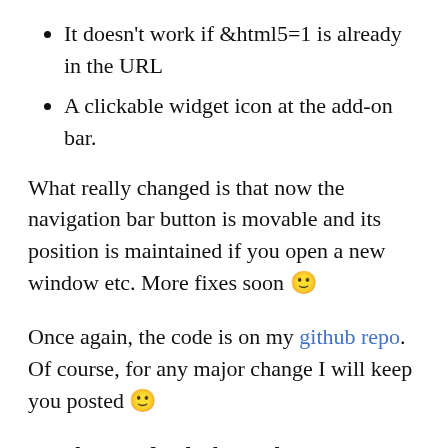It doesn't work if &html5=1 is already in the URL
A clickable widget icon at the add-on bar.
What really changed is that now the navigation bar button is movable and its position is maintained if you open a new window etc. More fixes soon 🙂
Once again, the code is on my github repo. Of course, for any major change I will keep you posted 🙂
For those and only those who already use YouTube HTML5 Switch and will upgrade to v0.1.3: Don't worry if the old icon remains on